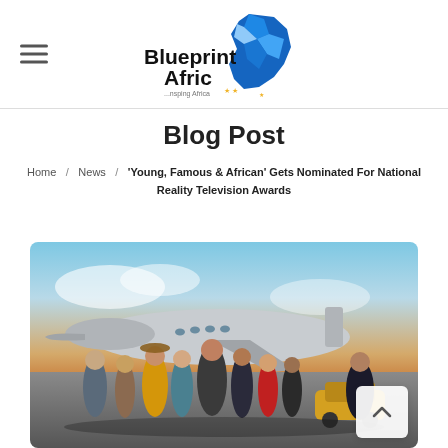Blueprint Afric — ...nsping Africa (logo with navigation)
Blog Post
Home / News / 'Young, Famous & African' Gets Nominated For National Reality Television Awards
[Figure (photo): Group of stylish people posing in front of a private jet on a tarmac at sunset — promotional image for 'Young, Famous & African' Netflix show]